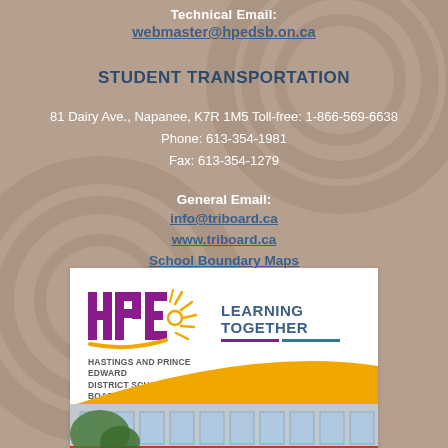Technical Email:
webmaster@hpedsb.on.ca
STUDENT TRANSPORTATION
81 Dairy Ave., Napanee, K7R 1M5 Toll-free: 1-866-569-6638
Phone: 613-354-1981
Fax: 613-354-1279
General Email:
info@triboard.ca
www.triboard.ca
School Boundary Maps
[Figure (logo): HPE Hastings and Prince Edward District School Board logo with 'LEARNING TOGETHER' tagline, purple HPE letters with sun rays, and a photo of a school building at the bottom]